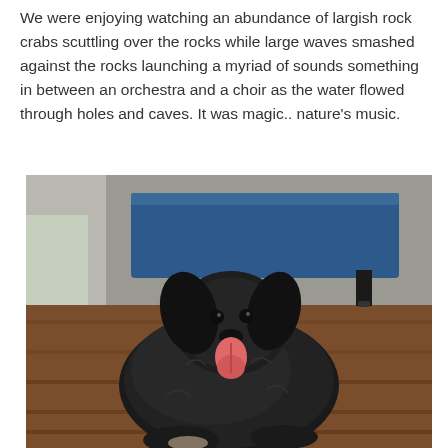We were enjoying watching an abundance of largish rock crabs scuttling over the rocks while large waves smashed against the rocks launching a myriad of sounds something in between an orchestra and a choir as the water flowed through holes and caves. It was magic.. nature’s music.
[Figure (photo): A black fluffy dog lying on a wooden floor with its tongue out, looking at the camera. A blue dog bed or mat is visible in the background.]